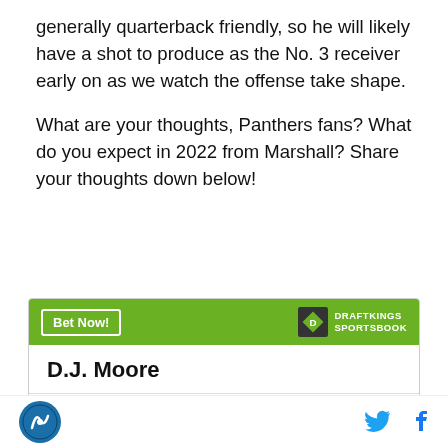generally quarterback friendly, so he will likely have a shot to produce as the No. 3 receiver early on as we watch the offense take shape.
What are your thoughts, Panthers fans? What do you expect in 2022 from Marshall? Share your thoughts down below!
|  |  |
| --- | --- |
| D.J. Moore |  |
| To win MVP | +50000 |
| To win Offensive Player of the Year | +15000 |